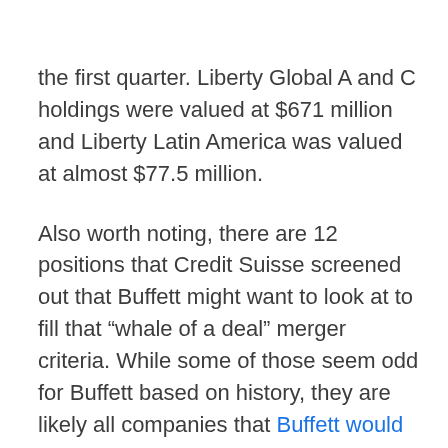the first quarter. Liberty Global A and C holdings were valued at $671 million and Liberty Latin America was valued at almost $77.5 million.
Also worth noting, there are 12 positions that Credit Suisse screened out that Buffett might want to look at to fill that “whale of a deal” merger criteria. While some of those seem odd for Buffett based on history, they are likely all companies that Buffett would